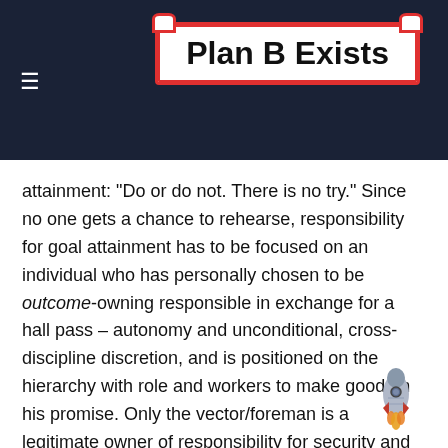Plan B Exists
attainment: "Do or do not. There is no try." Since no one gets a chance to rehearse, responsibility for goal attainment has to be focused on an individual who has personally chosen to be outcome-owning responsible in exchange for a hall pass – autonomy and unconditional, cross-discipline discretion, and is positioned on the hierarchy with role and workers to make good on his promise. Only the vector/foreman is a legitimate owner of responsibility for security and prosperity. All others are frauds. Any Congressional hearing will feature potentates reciting the standard rejections of responsibility for their calamity, ancient in origin, after the fact of administrative failure.
Run, break, and fix (RBF) is such a large component of Plan B